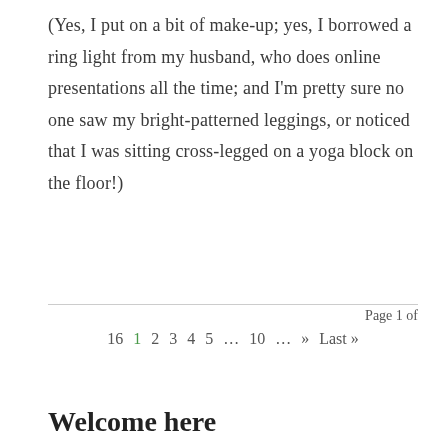(Yes, I put on a bit of make-up; yes, I borrowed a ring light from my husband, who does online presentations all the time; and I'm pretty sure no one saw my bright-patterned leggings, or noticed that I was sitting cross-legged on a yoga block on the floor!)
Page 1 of 16  1  2  3  4  5  ...  10  ...  »  Last »
Welcome here